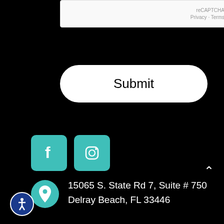[Figure (screenshot): reCAPTCHA widget box with 'reCAPTCHA', 'Privacy', and 'Terms' text]
[Figure (screenshot): White rounded Submit button]
[Figure (screenshot): Teal Facebook icon square button]
[Figure (screenshot): Teal Instagram icon square button]
15065 S. State Rd 7, Suite # 750 Delray Beach, FL 33446